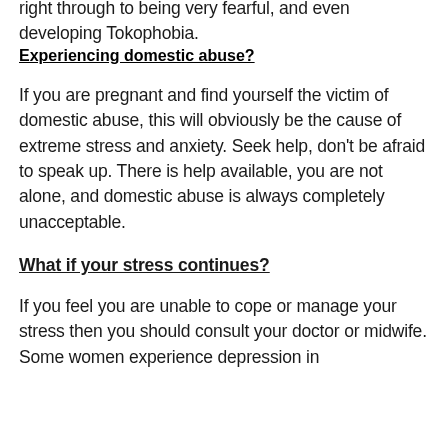right through to being very fearful, and even developing Tokophobia.
Experiencing domestic abuse?
If you are pregnant and find yourself the victim of domestic abuse, this will obviously be the cause of extreme stress and anxiety. Seek help, don't be afraid to speak up. There is help available, you are not alone, and domestic abuse is always completely unacceptable.
What if your stress continues?
If you feel you are unable to cope or manage your stress then you should consult your doctor or midwife. Some women experience depression in